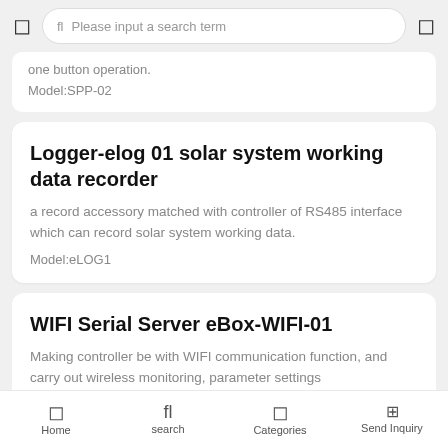Please input a search term
one button operation.
Model:SPP-02
Logger-elog 01 solar system working data recorder
a record accessory matched with controller of RS485 interface which can record solar system working data.
Model:eLOG1
WIFI Serial Server eBox-WIFI-01
Making controller be with WIFI communication function, and carry out wireless monitoring, parameter settings
Model:eBox-WIFI-01
Home  search  Categories  Send Inquiry